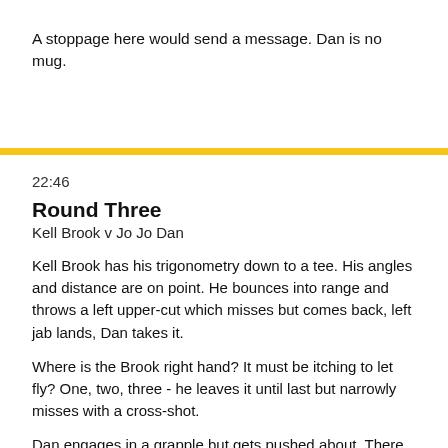A stoppage here would send a message. Dan is no mug.
22:46
Round Three
Kell Brook v Jo Jo Dan
Kell Brook has his trigonometry down to a tee. His angles and distance are on point. He bounces into range and throws a left upper-cut which misses but comes back, left jab lands, Dan takes it.
Where is the Brook right hand? It must be itching to let fly? One, two, three - he leaves it until last but narrowly misses with a cross-shot.
Dan engages in a grapple but gets pushed about. There is nothing down for him here. Bell. The